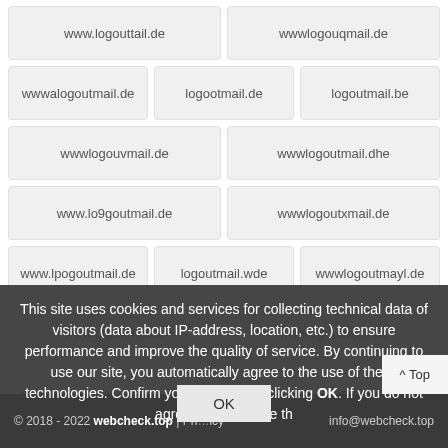www.logouttail.de
wwwlogouqmail.de
wwwalogoutmail.de
logootmail.de
logoutmail.be
wwwlogouvmail.de
wwwlogoutmail.dhe
www.lo9goutmail.de
wwwlogoutxmail.de
www.lpogoutmail.de
logoutmail.wde
wwwlogoutmayl.de
wwwlogoutmail.di
wwwlogoutmjail.de
wwwlogoutcmail.de
www.lwogoutmail.de
logo8tmail.de
This site uses cookies and services for collecting technical data of visitors (data about IP-address, location, etc.) to ensure performance and improve the quality of service. By continuing to use our site, you automatically agree to the use of these technologies. Confirm your consent by clicking OK. If you do not agree, please leave th
© 2018 - 2022 webcheck.top | Privacy Policy    info@webcheck.top